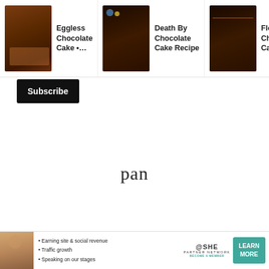[Figure (screenshot): Website navigation carousel showing three chocolate cake recipe cards: 'Eggless Chocolate Cake •…', 'Death By Chocolate Cake Recipe', 'Flourless Chocolate Cake Reci…' each with a food photo thumbnail]
[Figure (screenshot): Black Subscribe button]
pan
[Figure (infographic): SHE Media Partner Network advertisement with teal background showing 'BECOME A MEMBER' button and three benefits: Earning site & social revenue, Traffic growth, Speaking on our stages]
[Figure (screenshot): Right sidebar with upvote chevron button, 573 count, heart/like button, and orange search button, plus an X close button]
[Figure (infographic): Bottom banner ad for SHE Media Partner Network with a person photo, bullet points about earning site & social revenue, traffic growth, speaking on stages, SHE logo, and LEARN MORE button]